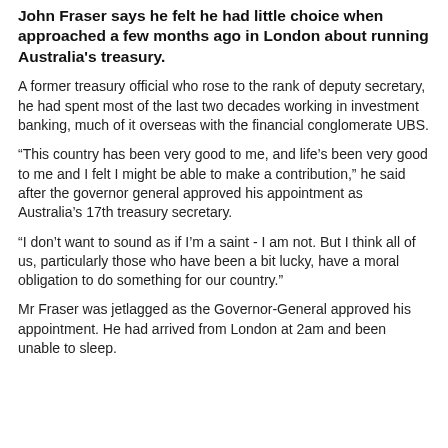John Fraser says he felt he had little choice when approached a few months ago in London about running Australia's treasury.
A former treasury official who rose to the rank of deputy secretary, he had spent most of the last two decades working in investment banking, much of it overseas with the financial conglomerate UBS.
“This country has been very good to me, and life’s been very good to me and I felt I might be able to make a contribution,” he said after the governor general approved his appointment as Australia’s 17th treasury secretary.
“I don’t want to sound as if I’m a saint - I am not. But I think all of us, particularly those who have been a bit lucky, have a moral obligation to do something for our country.”
Mr Fraser was jetlagged as the Governor-General approved his appointment. He had arrived from London at 2am and been unable to sleep.